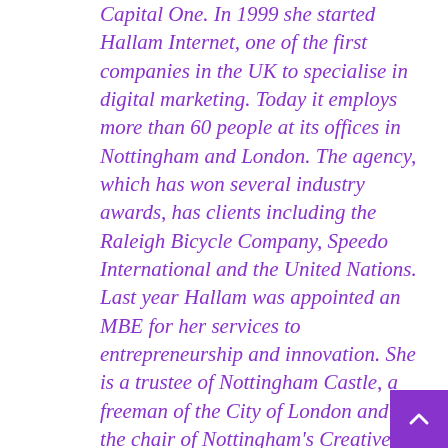Capital One. In 1999 she started Hallam Internet, one of the first companies in the UK to specialise in digital marketing. Today it employs more than 60 people at its offices in Nottingham and London. The agency, which has won several industry awards, has clients including the Raleigh Bicycle Company, Speedo International and the United Nations. Last year Hallam was appointed an MBE for her services to entrepreneurship and innovation. She is a trustee of Nottingham Castle, a freeman of the City of London and the chair of Nottingham's Creative Quarter
[Figure (other): Purple square button with upward-pointing chevron arrow, used as a scroll-to-top button]